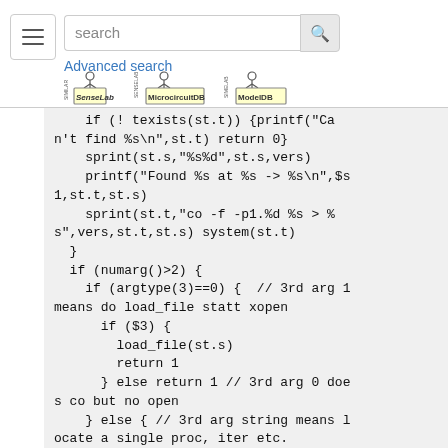search | Advanced search | SenseLab | MicrocircuitDB | ModelDB
[Figure (screenshot): Code block showing HOC/NEURON script with if/else logic for finding, copying, and loading a file or procedure by version number.]